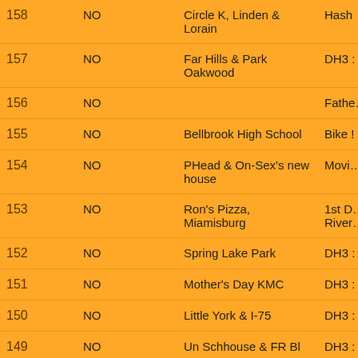| # | Area | Location | Event/Hare |
| --- | --- | --- | --- |
| 158 | NO | Circle K, Linden & Lorain | Hash... |
| 157 | NO | Far Hills & Park Oakwood | DH3 ... |
| 156 | NO |  | Father... Hash... |
| 155 | NO | Bellbrook High School | Bike ... |
| 154 | NO | PHead & On-Sex's new house | Movi... and H... |
| 153 | NO | Ron's Pizza, Miamisburg | 1st D... River... Mem... |
| 152 | NO | Spring Lake Park | DH3 ... |
| 151 | NO | Mother's Day KMC | DH3 ... |
| 150 | NO | Little York & I-75 | DH3 ... |
| 149 | NO | Un Schhouse & FR Bl... | DH3 ... |